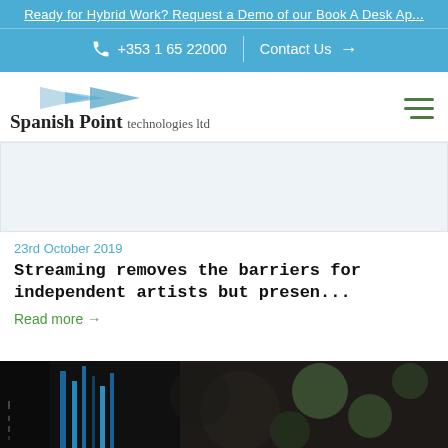Ready for Hybrid Work? Request a Demo of our Book A Desk Ap...
+353 1 65 22000 | Contact Us →
[Figure (logo): Spanish Point Technologies Ltd logo with angular bowtie graphic and company name]
[Figure (photo): Article thumbnail image – light blue/white placeholder]
23rd October 2019
Streaming removes the barriers for independent artists but presen...
Read more →
[Figure (photo): Dark photograph showing blue lit vertical elements, bokeh background, partially cropped]